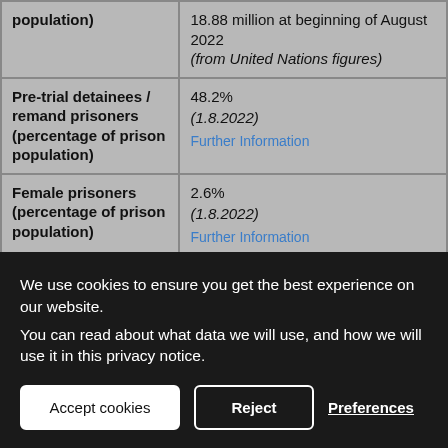| Category | Value |
| --- | --- |
| population) | 18.88 million at beginning of August 2022 (from United Nations figures) |
| Pre-trial detainees / remand prisoners (percentage of prison population) | 48.2% (1.8.2022) Further Information |
| Female prisoners (percentage of prison population) | 2.6% (1.8.2022) Further Information |
| Juveniles / minors / young prisoners incl. definition (percentage of | 1.0% (1.8.2022 - under 18) |
We use cookies to ensure you get the best experience on our website.
You can read about what data we will use, and how we will use it in this privacy notice.